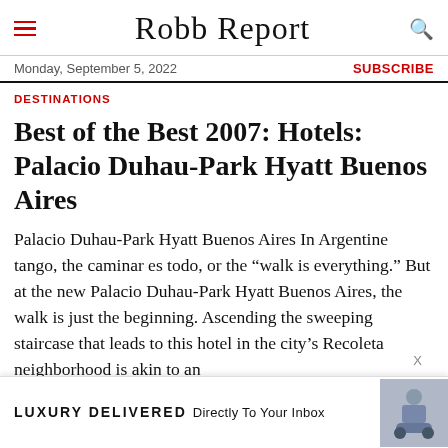Robb Report
Monday, September 5, 2022 | SUBSCRIBE
DESTINATIONS
Best of the Best 2007: Hotels: Palacio Duhau-Park Hyatt Buenos Aires
Palacio Duhau-Park Hyatt Buenos Aires In Argentine tango, the caminar es todo, or the “walk is everything.” But at the new Palacio Duhau-Park Hyatt Buenos Aires, the walk is just the beginning. Ascending the sweeping staircase that leads to this hotel in the city’s Recoleta neighborhood is akin to an
[Figure (screenshot): Advertisement banner at the bottom reading 'LUXURY DELIVERED Directly To Your Inbox' with a close X button and a small image of a person on a boat/vehicle.]